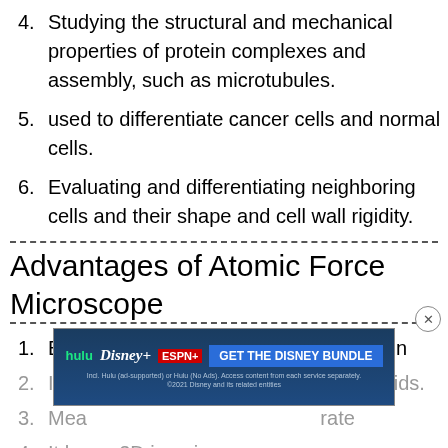4. Studying the structural and mechanical properties of protein complexes and assembly, such as microtubules.
5. used to differentiate cancer cells and normal cells.
6. Evaluating and differentiating neighboring cells and their shape and cell wall rigidity.
Advantages of Atomic Force Microscope
1. Easy to prepare samples for observation
2. It can be used in vacuums, air, and liquids.
3. Measurements are highly accurate
4. It has a 3D imaging